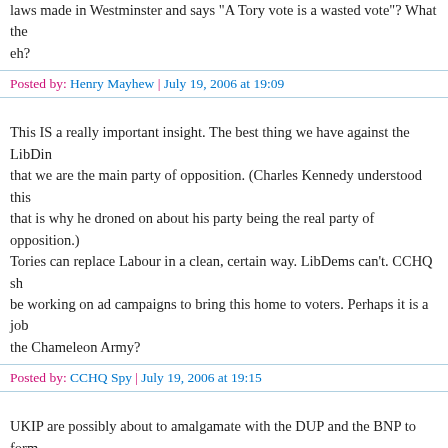laws made in Westminster and says "A Tory vote is a wasted vote"? What the heck, eh?
Posted by: Henry Mayhew | July 19, 2006 at 19:09
This IS a really important insight. The best thing we have against the LibDems is that we are the main party of opposition. (Charles Kennedy understood this - that is why he droned on about his party being the real party of opposition.) Tories can replace Labour in a clean, certain way. LibDems can't. CCHQ should be working on ad campaigns to bring this home to voters. Perhaps it is a job for the Chameleon Army?
Posted by: CCHQ Spy | July 19, 2006 at 19:15
UKIP are possibly about to amalgamate with the DUP and the BNP to form the BDIP. That would persuade the Conservatives and Lib Dems to join forces in a big way - if this new alliance gets off the ground.
see http://rightlinks.co.uk/linked/modules/newbb/viewtopic.php?topic_id=298&forum=7&post_id=1129#forumpost1129
Posted by: william | July 19, 2006 at 19:18